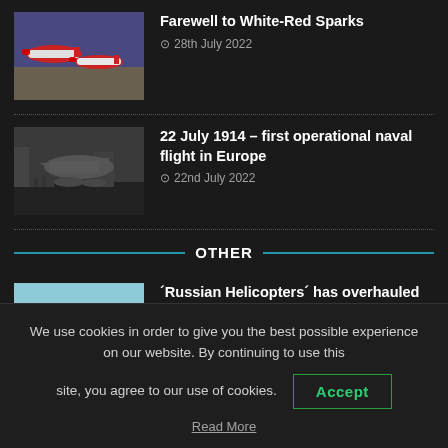[Figure (photo): Color photo of red and white jet aircraft on ground]
Farewell to White-Red Sparks
28th July 2022
[Figure (photo): Black and white historical photo of early naval aircraft]
22 July 1914 – first operational naval flight in Europe
22nd July 2022
OTHER
[Figure (photo): Color photo of a green military helicopter in flight]
´Russian Helicopters´ has overhauled six Mi-17-1V of Peruvian Air Force
3rd November 2021
We use cookies in order to give you the best possible experience on our website. By continuing to use this site, you agree to our use of cookies.
Read More